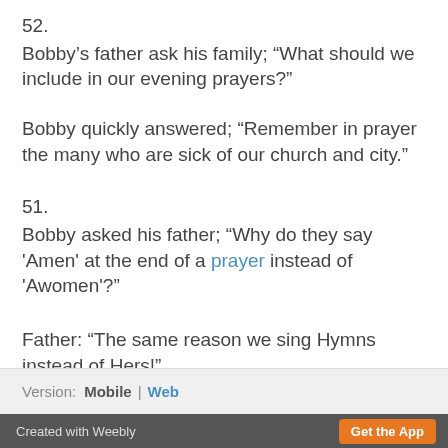52.
Bobby's father ask his family; “What should we include in our evening prayers?”
Bobby quickly answered; “Remember in prayer the many who are sick of our church and city."
51.
Bobby asked his father; “Why do they say 'Amen' at the end of a prayer instead of 'Awomen'?”
Father: “The same reason we sing Hymns instead of Hers!”
Version: Mobile | Web
Created with Weebly  Get the App